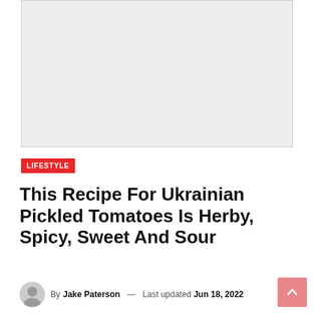[Figure (photo): Light gray placeholder image box at the top of the article page]
LIFESTYLE
This Recipe For Ukrainian Pickled Tomatoes Is Herby, Spicy, Sweet And Sour
By Jake Paterson — Last updated Jun 18, 2022